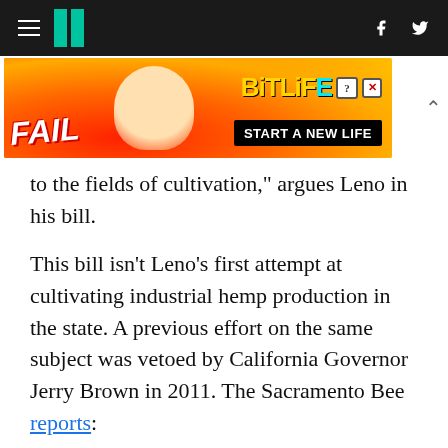HuffPost navigation header with hamburger menu, logo, Facebook and Twitter icons
[Figure (other): Advertisement banner for BitLife game showing 'FAIL' text, animated character, flames, and 'START A NEW LIFE' tagline]
to the fields of cultivation," argues Leno in his bill.
This bill isn't Leno's first attempt at cultivating industrial hemp production in the state. A previous effort on the same subject was vetoed by California Governor Jerry Brown in 2011. The Sacramento Bee reports:
In a veto message, Brown said federal law considers industrial hemp to be a regulated, controlled substance, and that failure to obtain a federal permit would subject